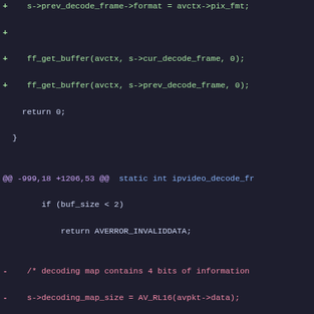[Figure (screenshot): Code diff screenshot showing a git diff of a C source file. Lines with '+' are additions in green, lines with '-' are deletions in red, hunk headers in purple/blue, and neutral context lines in light color. The diff shows changes to ipvideo_decode_fr function including removal of decoding_map_size logic and addition of frame_format/switch logic.]